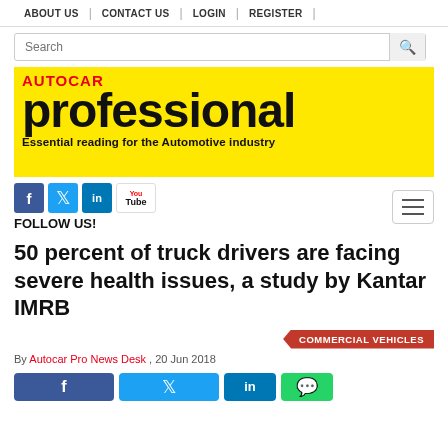ABOUT US | CONTACT US | LOGIN | REGISTER
[Figure (screenshot): Search bar with magnifying glass icon]
[Figure (logo): Autocar Professional banner - yellow background with red AUTOCAR text and black 'professional' in large bold font, tagline: Essential reading for the Automotive industry]
[Figure (infographic): Social media icons: Facebook, Twitter, LinkedIn, YouTube. FOLLOW US! text. Hamburger menu icon on right.]
50 percent of truck drivers are facing severe health issues, a study by Kantar IMRB
COMMERCIAL VEHICLES
By Autocar Pro News Desk , 20 Jun 2018
[Figure (infographic): Social share buttons: Facebook (blue), Twitter (light blue), LinkedIn (dark blue), WhatsApp (green)]